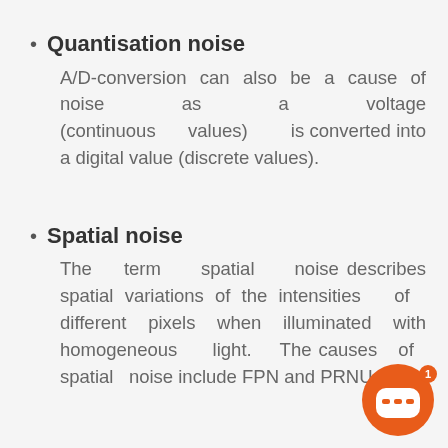Quantisation noise
A/D-conversion can also be a cause of noise as a voltage (continuous values) is converted into a digital value (discrete values).
Spatial noise
The term spatial noise describes spatial variations of the intensities of different pixels when illuminated with homogeneous light. The causes of spatial noise include FPN and PRNU noise